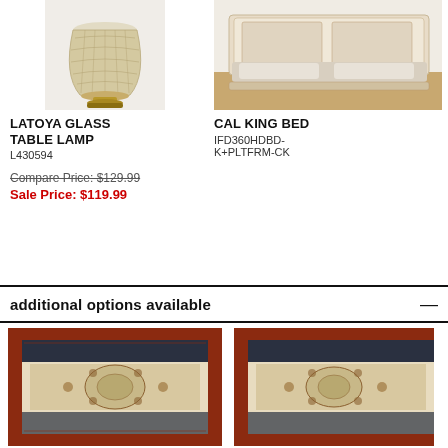[Figure (photo): Latoya glass table lamp with gold base, ornate bead-style shade]
LATOYA GLASS TABLE LAMP
L430594
Compare Price: $129.99
Sale Price: $119.99
[Figure (photo): Cal king bed with ornate white/cream headboard and footboard, bedding on top, wooden floor background]
CAL KING BED
IFD360HDBD-K+PLTFRM-CK
additional options available
[Figure (photo): Traditional Persian-style area rug with cream center, dark red border, floral medallion pattern]
[Figure (photo): Traditional Persian-style area rug, partially visible, same style as left rug]